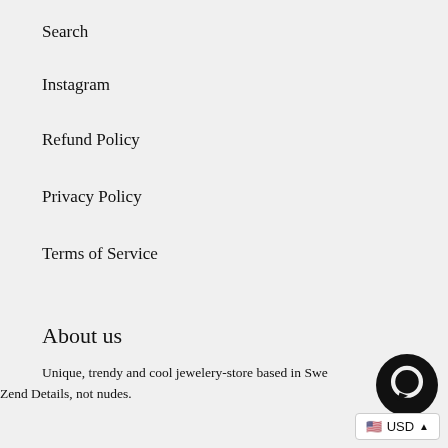Search
Instagram
Refund Policy
Privacy Policy
Terms of Service
About us
Unique, trendy and cool jewelery-store based in Swe… Zend Details, not nudes.